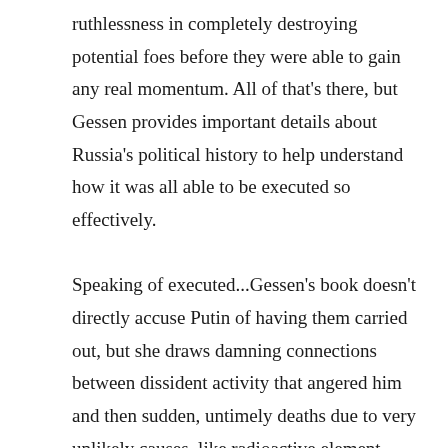ruthlessness in completely destroying potential foes before they were able to gain any real momentum. All of that's there, but Gessen provides important details about Russia's political history to help understand how it was all able to be executed so effectively.

Speaking of executed...Gessen's book doesn't directly accuse Putin of having them carried out, but she draws damning connections between dissident activity that angered him and then sudden, untimely deaths due to very unlikely causes, like radioactive element poisoning. Documentary proof of this and other clandestine,